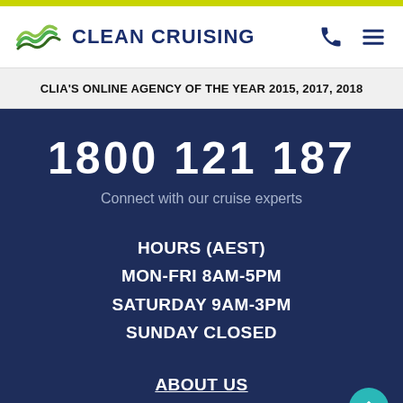[Figure (logo): Clean Cruising logo with wave icon and company name]
CLIA'S ONLINE AGENCY OF THE YEAR 2015, 2017, 2018
1800 121 187
Connect with our cruise experts
HOURS (AEST)
MON-FRI 8AM-5PM
SATURDAY 9AM-3PM
SUNDAY CLOSED
ABOUT US
CONTACT US